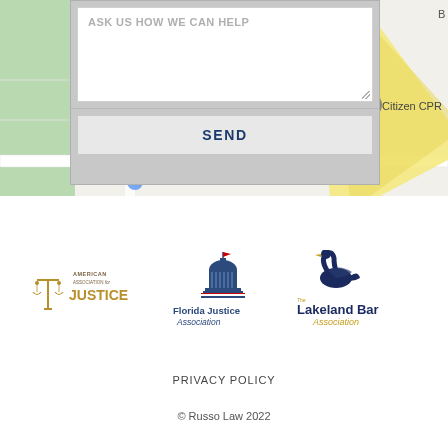[Figure (screenshot): Google Maps partial view showing street map with yellow road and Citizen CPR location marker, partially overlaid by a contact form]
[Figure (screenshot): Contact form overlay with 'ASK US HOW WE CAN HELP' textarea placeholder and a SEND button, on a gray background]
[Figure (logo): American Association for Justice logo with scales icon]
[Figure (logo): Florida Justice Association logo with capitol building]
[Figure (logo): Lakeland Bar Association logo with swan]
PRIVACY POLICY
© Russo Law 2022